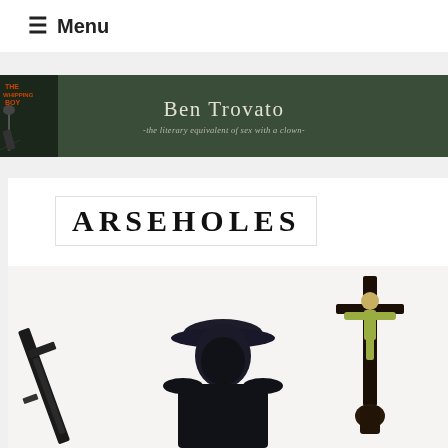☰ Menu
[Figure (illustration): Ben Trovato website banner with dark green background, a figure on the left side, and centered text reading 'Ben Trovato' with subtitle '-the literary equivalent of sex with a clown-']
ARSEHOLES
[Figure (photo): Black and white photo of a person wearing a fedora hat and dark clothing, holding what appears to be a gun on the left side and a crucifix/cross with a figure of Jesus on the right side, against a white background]